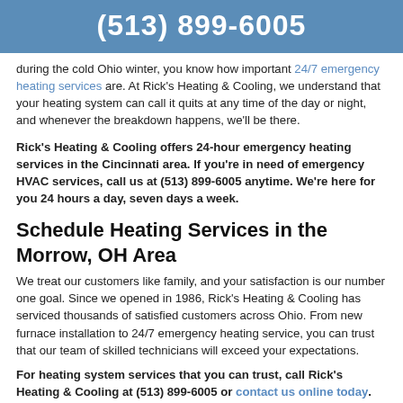(513) 899-6005
during the cold Ohio winter, you know how important 24/7 emergency heating services are. At Rick's Heating & Cooling, we understand that your heating system can call it quits at any time of the day or night, and whenever the breakdown happens, we'll be there.
Rick's Heating & Cooling offers 24-hour emergency heating services in the Cincinnati area. If you're in need of emergency HVAC services, call us at (513) 899-6005 anytime. We're here for you 24 hours a day, seven days a week.
Schedule Heating Services in the Morrow, OH Area
We treat our customers like family, and your satisfaction is our number one goal. Since we opened in 1986, Rick's Heating & Cooling has serviced thousands of satisfied customers across Ohio. From new furnace installation to 24/7 emergency heating service, you can trust that our team of skilled technicians will exceed your expectations.
For heating system services that you can trust, call Rick's Heating & Cooling at (513) 899-6005 or contact us online today.
Frequently Asked Questions on Heating